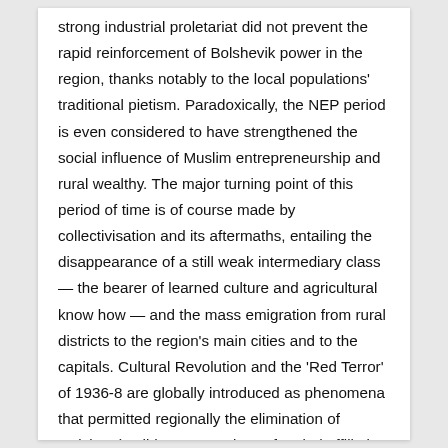strong industrial proletariat did not prevent the rapid reinforcement of Bolshevik power in the region, thanks notably to the local populations' traditional pietism. Paradoxically, the NEP period is even considered to have strengthened the social influence of Muslim entrepreneurship and rural wealthy. The major turning point of this period of time is of course made by collectivisation and its aftermaths, entailing the disappearance of a still weak intermediary class — the bearer of learned culture and agricultural know how — and the mass emigration from rural districts to the region's main cities and to the capitals. Cultural Revolution and the 'Red Terror' of 1936-8 are globally introduced as phenomena that permitted regionally the elimination of activists (Jadids, progressives of varied affiliation . . .) who since the beginning of